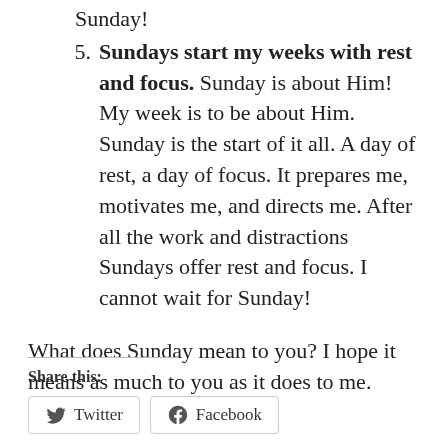Sunday!
5. Sundays start my weeks with rest and focus. Sunday is about Him! My week is to be about Him. Sunday is the start of it all. A day of rest, a day of focus. It prepares me, motivates me, and directs me. After all the work and distractions Sundays offer rest and focus. I cannot wait for Sunday!
What does Sunday mean to you? I hope it means as much to you as it does to me.
Share this:
Twitter  Facebook